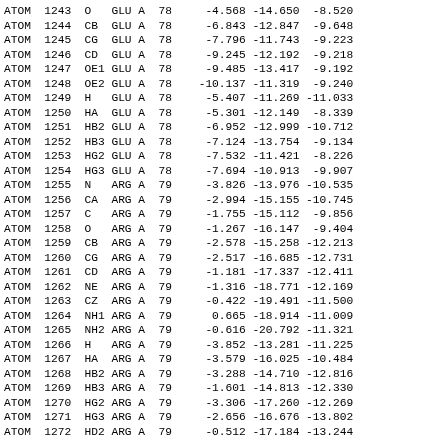| Type | Serial | Name | Res | Chain | ResSeq | X | Y | Z |
| --- | --- | --- | --- | --- | --- | --- | --- | --- |
| ATOM | 1243 | O | GLU | A | 78 | -4.568 | -14.650 | -8.520 |
| ATOM | 1244 | CB | GLU | A | 78 | -6.843 | -12.847 | -9.648 |
| ATOM | 1245 | CG | GLU | A | 78 | -7.796 | -11.743 | -9.223 |
| ATOM | 1246 | CD | GLU | A | 78 | -9.245 | -12.192 | -9.218 |
| ATOM | 1247 | OE1 | GLU | A | 78 | -9.485 | -13.417 | -9.192 |
| ATOM | 1248 | OE2 | GLU | A | 78 | -10.137 | -11.319 | -9.240 |
| ATOM | 1249 | H | GLU | A | 78 | -5.407 | -11.269 | -11.033 |
| ATOM | 1250 | HA | GLU | A | 78 | -5.301 | -12.149 | -8.339 |
| ATOM | 1251 | HB2 | GLU | A | 78 | -6.952 | -12.999 | -10.712 |
| ATOM | 1252 | HB3 | GLU | A | 78 | -7.124 | -13.754 | -9.134 |
| ATOM | 1253 | HG2 | GLU | A | 78 | -7.532 | -11.421 | -8.226 |
| ATOM | 1254 | HG3 | GLU | A | 78 | -7.694 | -10.913 | -9.907 |
| ATOM | 1255 | N | ARG | A | 79 | -3.826 | -13.976 | -10.535 |
| ATOM | 1256 | CA | ARG | A | 79 | -2.994 | -15.155 | -10.745 |
| ATOM | 1257 | C | ARG | A | 79 | -1.755 | -15.112 | -9.856 |
| ATOM | 1258 | O | ARG | A | 79 | -1.267 | -16.147 | -9.404 |
| ATOM | 1259 | CB | ARG | A | 79 | -2.578 | -15.258 | -12.213 |
| ATOM | 1260 | CG | ARG | A | 79 | -2.517 | -16.685 | -12.731 |
| ATOM | 1261 | CD | ARG | A | 79 | -1.181 | -17.337 | -12.411 |
| ATOM | 1262 | NE | ARG | A | 79 | -1.316 | -18.771 | -12.169 |
| ATOM | 1263 | CZ | ARG | A | 79 | -0.422 | -19.491 | -11.500 |
| ATOM | 1264 | NH1 | ARG | A | 79 | 0.665 | -18.914 | -11.009 |
| ATOM | 1265 | NH2 | ARG | A | 79 | -0.616 | -20.792 | -11.321 |
| ATOM | 1266 | H | ARG | A | 79 | -3.852 | -13.281 | -11.225 |
| ATOM | 1267 | HA | ARG | A | 79 | -3.579 | -16.025 | -10.484 |
| ATOM | 1268 | HB2 | ARG | A | 79 | -3.288 | -14.710 | -12.816 |
| ATOM | 1269 | HB3 | ARG | A | 79 | -1.601 | -14.813 | -12.330 |
| ATOM | 1270 | HG2 | ARG | A | 79 | -3.306 | -17.260 | -12.269 |
| ATOM | 1271 | HG3 | ARG | A | 79 | -2.656 | -16.676 | -13.802 |
| ATOM | 1272 | HD2 | ARG | A | 79 | -0.512 | -17.184 | -13.244 |